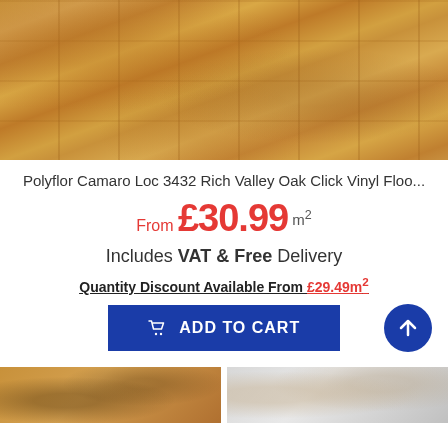[Figure (photo): Close-up photo of Polyflor Camaro Loc 3432 Rich Valley Oak vinyl flooring planks showing wood grain texture in warm golden-brown tones]
Polyflor Camaro Loc 3432 Rich Valley Oak Click Vinyl Floo...
From £30.99 m²
Includes VAT & Free Delivery
Quantity Discount Available From £29.49m²
[Figure (other): Blue ADD TO CART button with shopping cart icon]
[Figure (photo): Bottom row of product/room images showing flooring installations]